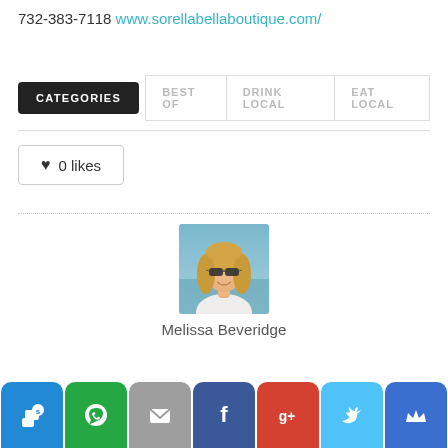732-383-7118 www.sorellabellaboutique.com/
CATEGORIES
BEST OF
DRINK LOCAL
EAT LOCAL
♥ 0 likes
[Figure (photo): Profile photo of Melissa Beveridge — blonde woman with sunglasses, smiling, outdoors near water]
Melissa Beveridge
[Figure (infographic): Share/social bar with 7 icons: Sitio, WhatsApp, Email, Facebook, Google+, Twitter, Crown]